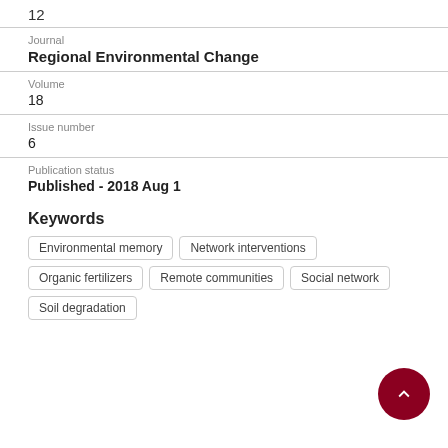12
Journal
Regional Environmental Change
Volume
18
Issue number
6
Publication status
Published - 2018 Aug 1
Keywords
Environmental memory
Network interventions
Organic fertilizers
Remote communities
Social network
Soil degradation